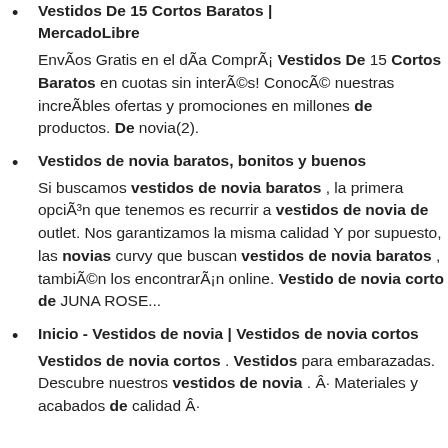Vestidos De 15 Cortos Baratos | MercadoLibre
EnvÃos Gratis en el dÃa ComprÃ¡ Vestidos De 15 Cortos Baratos en cuotas sin interÃ©s! ConocÃ© nuestras increÃbles ofertas y promociones en millones de productos. De novia(2).
Vestidos de novia baratos, bonitos y buenos
Si buscamos vestidos de novia baratos , la primera opciÃ³n que tenemos es recurrir a vestidos de novia de outlet. Nos garantizamos la misma calidad Y por supuesto, las novias curvy que buscan vestidos de novia baratos , tambiÃ©n los encontrarÃ¡n online. Vestido de novia corto de JUNA ROSE...
Inicio - Vestidos de novia | Vestidos de novia cortos
Vestidos de novia cortos . Vestidos para embarazadas. Descubre nuestros vestidos de novia . Â· Materiales y acabados de calidad Â·